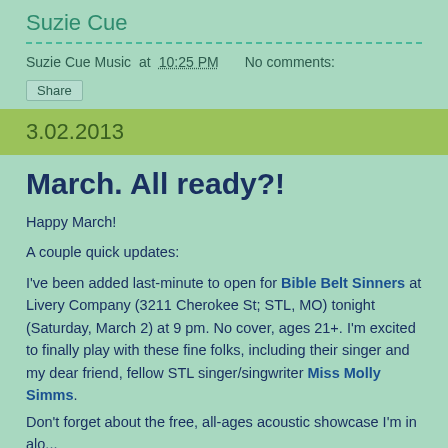Suzie Cue
Suzie Cue Music at 10:25 PM   No comments:
Share
3.02.2013
March. All ready?!
Happy March!
A couple quick updates:
I've been added last-minute to open for Bible Belt Sinners at Livery Company (3211 Cherokee St; STL, MO) tonight (Saturday, March 2) at 9 pm. No cover, ages 21+. I'm excited to finally play with these fine folks, including their singer and my dear friend, fellow STL singer/singwriter Miss Molly Simms.
Don't forget about the free, all-ages acoustic showcase I'm in alo...